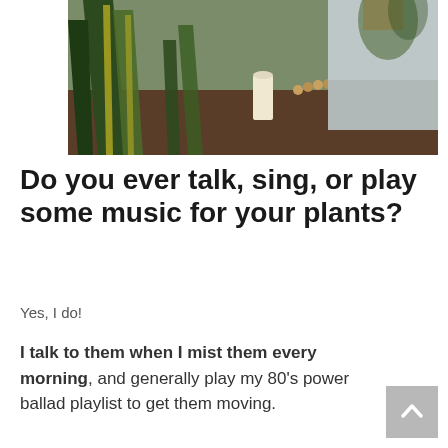[Figure (photo): A person wearing a grey t-shirt sitting among large green snake plants and other houseplants, with a candle visible in the background on a wooden surface.]
Do you ever talk, sing, or play some music for your plants?
Yes, I do!
I talk to them when I mist them every morning, and generally play my 80's power ballad playlist to get them moving.